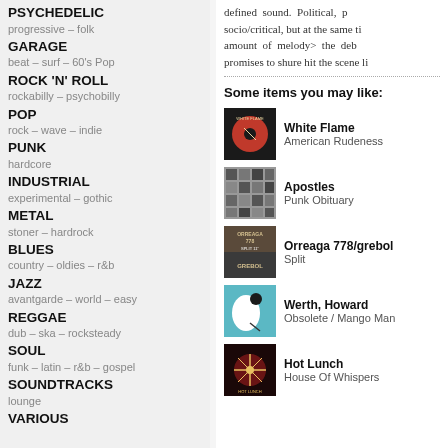PSYCHEDELIC
progressive - folk
GARAGE
beat - surf - 60's Pop
ROCK 'N' ROLL
rockabilly - psychobilly
POP
rock - wave - indie
PUNK
hardcore
INDUSTRIAL
experimental - gothic
METAL
stoner - hardrock
BLUES
country - oldies - r&b
JAZZ
avantgarde - world - easy
REGGAE
dub - ska - rocksteady
SOUL
funk - latin - r&b - gospel
SOUNDTRACKS
lounge
VARIOUS
defined sound. Political, p socio/critical, but at the same tim amount of melody> the debu promises to shure hit the scene li
Some items you may like:
[Figure (photo): White Flame album art - dark background with red circle]
White Flame
American Rudeness
[Figure (photo): Apostles album art - grid of black and white images]
Apostles
Punk Obituary
[Figure (photo): Orreaga 778/Grebol Split album art]
Orreaga 778/grebol
Split
[Figure (photo): Werth Howard album art - teal background with white shape]
Werth, Howard
Obsolete / Mango Man
[Figure (photo): Hot Lunch album art - dark with star burst]
Hot Lunch
House Of Whispers